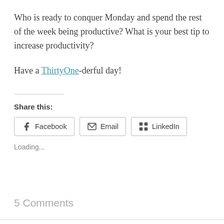Who is ready to conquer Monday and spend the rest of the week being productive?  What is your best tip to increase productivity?
Have a ThirtyOne-derful day!
Share this:
Facebook  Email  LinkedIn
Loading...
5 Comments